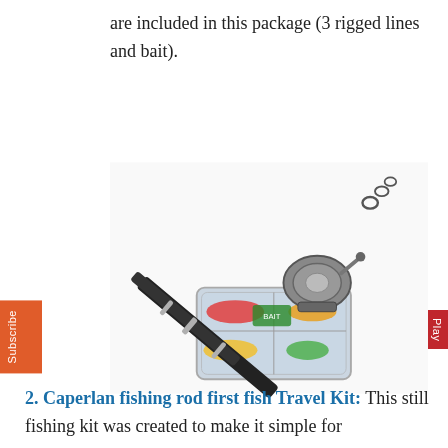are included in this package (3 rigged lines and bait).
[Figure (photo): A fishing rod travel kit showing a telescopic fishing rod with spinning reel mounted on top of a clear plastic tackle box containing colorful lures and bait.]
2. Caperlan fishing rod first fish Travel Kit: This still fishing kit was created to make it simple for